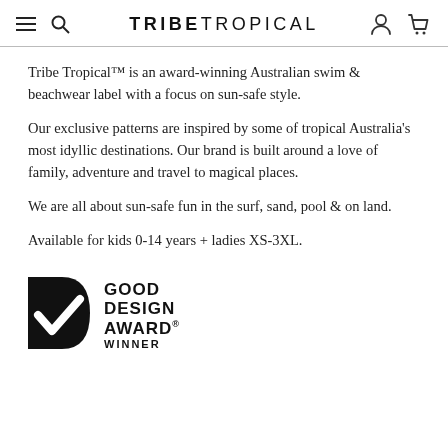TRIBE TROPICAL
Tribe Tropical™ is an award-winning Australian swim & beachwear label with a focus on sun-safe style.
Our exclusive patterns are inspired by some of tropical Australia's most idyllic destinations. Our brand is built around a love of family, adventure and travel to magical places.
We are all about sun-safe fun in the surf, sand, pool & on land.
Available for kids 0-14 years + ladies XS-3XL.
[Figure (logo): Good Design Award Winner logo — black award badge with checkmark and bold text GOOD DESIGN AWARD WINNER]